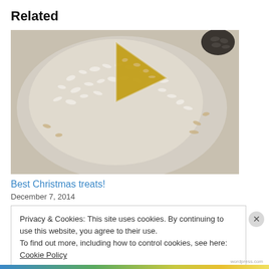Related
[Figure (photo): Overhead view of a round cake dusted with powdered sugar and sliced, with nuts visible, on a plate]
Best Christmas treats!
December 7, 2014
Privacy & Cookies: This site uses cookies. By continuing to use this website, you agree to their use.
To find out more, including how to control cookies, see here: Cookie Policy
Close and accept